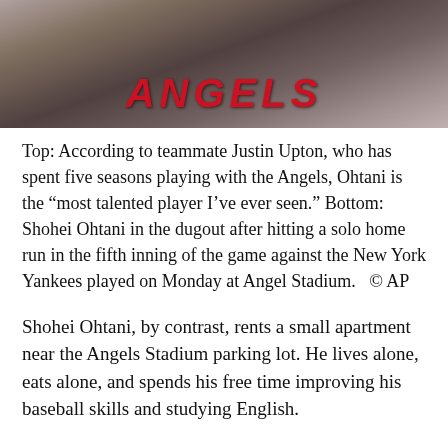[Figure (photo): Photo of Shohei Ohtani in an Angels uniform, celebrating with teammates. The word ANGELS is visible on his jersey.]
Top: According to teammate Justin Upton, who has spent five seasons playing with the Angels, Ohtani is the “most talented player I’ve ever seen.” Bottom: Shohei Ohtani in the dugout after hitting a solo home run in the fifth inning of the game against the New York Yankees played on Monday at Angel Stadium.   © AP
Shohei Ohtani, by contrast, rents a small apartment near the Angels Stadium parking lot. He lives alone, eats alone, and spends his free time improving his baseball skills and studying English.
Babe Ruth, considered by many to be the greatest baseball player of all time, found playing both pitcher and outfield to be a hindrance. He did it for parts of